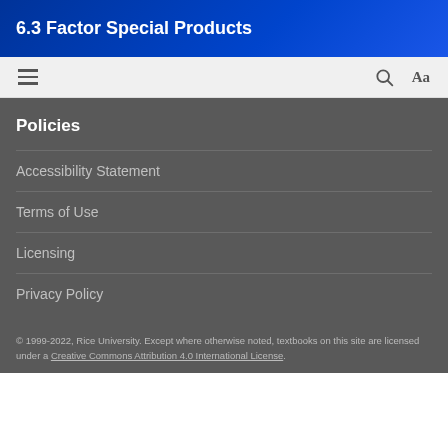6.3 Factor Special Products
Policies
Accessibility Statement
Terms of Use
Licensing
Privacy Policy
© 1999-2022, Rice University. Except where otherwise noted, textbooks on this site are licensed under a Creative Commons Attribution 4.0 International License.